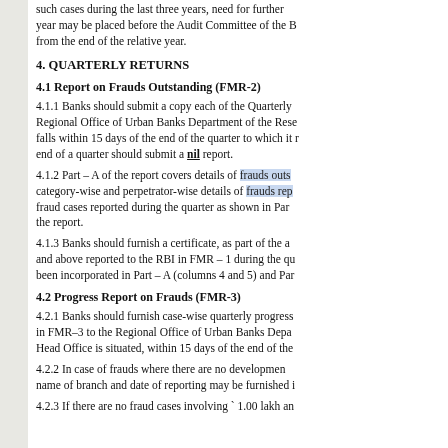such cases during the last three years, need for further year may be placed before the Audit Committee of the B from the end of the relative year.
4. QUARTERLY RETURNS
4.1 Report on Frauds Outstanding (FMR-2)
4.1.1 Banks should submit a copy each of the Quarterly Regional Office of Urban Banks Department of the Rese falls within 15 days of the end of the quarter to which it r end of a quarter should submit a nil report.
4.1.2 Part – A of the report covers details of frauds outs category-wise and perpetrator-wise details of frauds rep fraud cases reported during the quarter as shown in Par the report.
4.1.3 Banks should furnish a certificate, as part of the a and above reported to the RBI in FMR – 1 during the qu been incorporated in Part – A (columns 4 and 5) and Par
4.2 Progress Report on Frauds (FMR-3)
4.2.1 Banks should furnish case-wise quarterly progress in FMR–3 to the Regional Office of Urban Banks Depa Head Office is situated, within 15 days of the end of the
4.2.2 In case of frauds where there are no developmen name of branch and date of reporting may be furnished i
4.2.3 If there are no fraud cases involving ` 1.00 lakh an